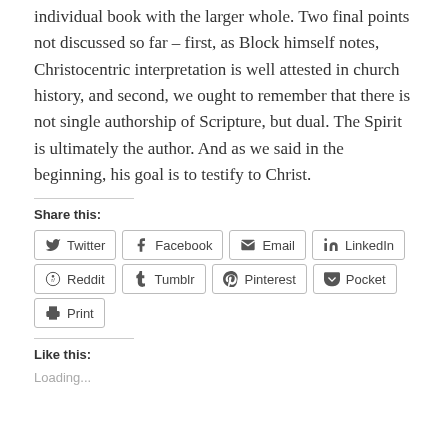individual book with the larger whole. Two final points not discussed so far – first, as Block himself notes, Christocentric interpretation is well attested in church history, and second, we ought to remember that there is not single authorship of Scripture, but dual. The Spirit is ultimately the author. And as we said in the beginning, his goal is to testify to Christ.
Share this:
Twitter Facebook Email LinkedIn Reddit Tumblr Pinterest Pocket Print
Like this:
Loading...